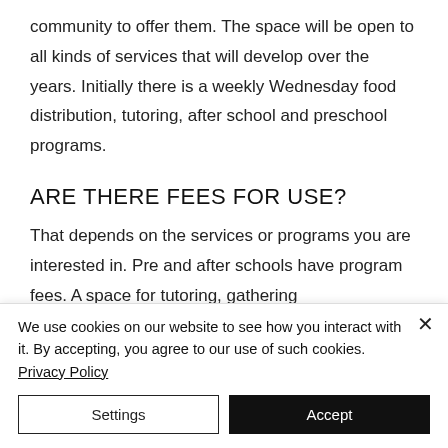community to offer them. The space will be open to all kinds of services that will develop over the years. Initially there is a weekly Wednesday food distribution, tutoring, after school and preschool programs.
ARE THERE FEES FOR USE?
That depends on the services or programs you are interested in. Pre and after schools have program fees. A space for tutoring, gathering
We use cookies on our website to see how you interact with it. By accepting, you agree to our use of such cookies. Privacy Policy